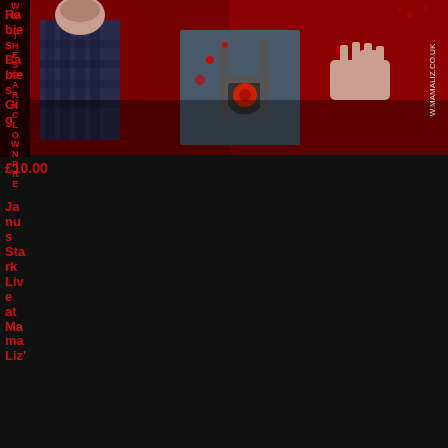[Figure (illustration): Horror/punk event poster image showing zombie or gore-style illustrated figures in red and dark tones, with text 'WW.THESCARYCLOWNPRE' on left vertical strip and 'W.MAMALIZ.CO.UK' on right side]
Rabies Babies Gig
£10.00
Janus Stark Live at Mama Liz'